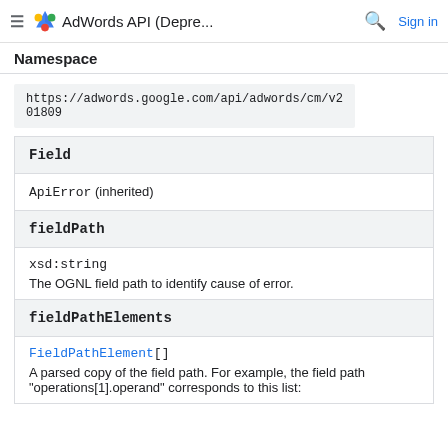AdWords API (Depre... Sign in
Namespace
https://adwords.google.com/api/adwords/cm/v201809
| Field |
| --- |
| ApiError (inherited) |
| fieldPath | xsd:string | The OGNL field path to identify cause of error. |
| fieldPathElements | FieldPathElement[] | A parsed copy of the field path. For example, the field path "operations[1].operand" corresponds to this list: |